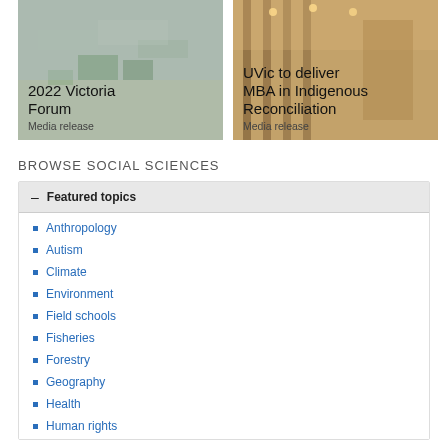[Figure (photo): Aerial view of a university campus (Victoria Forum)]
2022 Victoria Forum
Media release
[Figure (photo): Interior of a building with large windows and a statue (UVic MBA in Indigenous Reconciliation)]
UVic to deliver MBA in Indigenous Reconciliation
Media release
BROWSE SOCIAL SCIENCES
– Featured topics
Anthropology
Autism
Climate
Environment
Field schools
Fisheries
Forestry
Geography
Health
Human rights